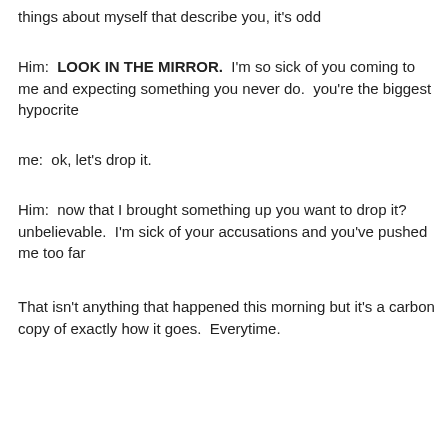things about myself that describe you, it's odd
Him:  LOOK IN THE MIRROR.  I'm so sick of you coming to me and expecting something you never do.  you're the biggest hypocrite
me:  ok, let's drop it.
Him:  now that I brought something up you want to drop it?  unbelievable.  I'm sick of your accusations and you've pushed me too far
That isn't anything that happened this morning but it's a carbon copy of exactly how it goes.  Everytime.